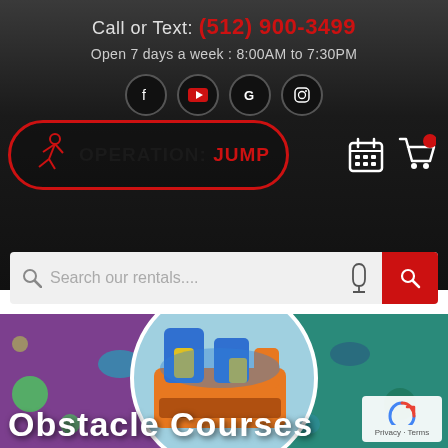Call or Text: (512) 900-3499
Open 7 days a week : 8:00AM to 7:30PM
[Figure (logo): Social media icons: Facebook, YouTube, Google, Instagram in dark circles]
[Figure (logo): Operation: Jump logo with running figure silhouette in red border rounded rectangle]
[Figure (other): Search bar with microphone and red search button. Text: Search our rentals....]
[Figure (photo): Colorful inflatable obstacle course on splatter paint background]
Obstacle Courses
[Figure (other): reCAPTCHA badge with Privacy - Terms]